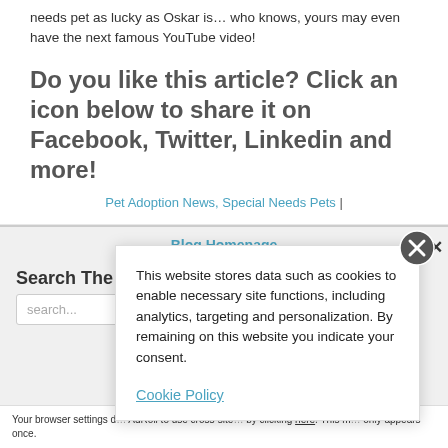needs pet as lucky as Oskar is… who knows, yours may even have the next famous YouTube video!
Do you like this article? Click an icon below to share it on Facebook, Twitter, Linkedin and more!
Pet Adoption News, Special Needs Pets |
Blog Homepage
Search The
search...
[Figure (screenshot): Cookie consent popup overlay with close button (X in circle), text about website data storage, and Cookie Policy link]
Your browser settings d… AdRoll to use cross-site… by clicking here. This m… only appears once.